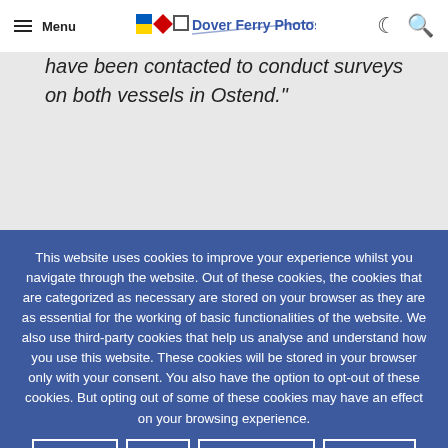Menu | Dover Ferry Photos
have been contacted to conduct surveys on both vessels in Ostend."
This website uses cookies to improve your experience whilst you navigate through the website. Out of these cookies, the cookies that are categorized as necessary are stored on your browser as they are as essential for the working of basic functionalities of the website. We also use third-party cookies that help us analyse and understand how you use this website. These cookies will be stored in your browser only with your consent. You also have the option to opt-out of these cookies. But opting out of some of these cookies may have an effect on your browsing experience.
Accept All
Reject
Cookie settings
Read More